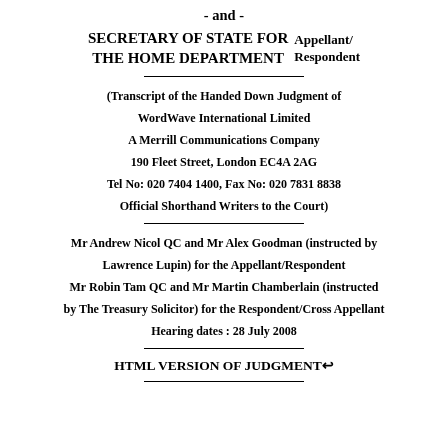- and -
SECRETARY OF STATE FOR THE HOME DEPARTMENT    Appellant/ Respondent
(Transcript of the Handed Down Judgment of WordWave International Limited A Merrill Communications Company 190 Fleet Street, London EC4A 2AG Tel No: 020 7404 1400, Fax No: 020 7831 8838 Official Shorthand Writers to the Court)
Mr Andrew Nicol QC and Mr Alex Goodman (instructed by Lawrence Lupin) for the Appellant/Respondent Mr Robin Tam QC and Mr Martin Chamberlain (instructed by The Treasury Solicitor) for the Respondent/Cross Appellant Hearing dates : 28 July 2008
HTML VERSION OF JUDGMENT